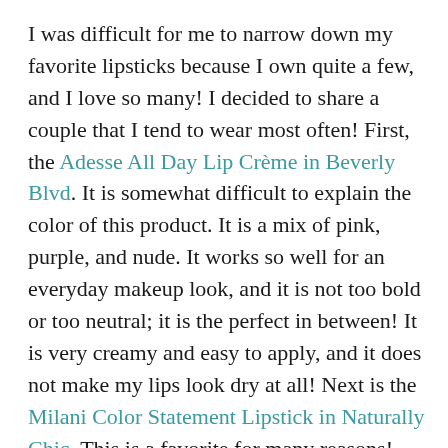I was difficult for me to narrow down my favorite lipsticks because I own quite a few, and I love so many! I decided to share a couple that I tend to wear most often! First, the Adesse All Day Lip Crème in Beverly Blvd. It is somewhat difficult to explain the color of this product. It is a mix of pink, purple, and nude. It works so well for an everyday makeup look, and it is not too bold or too neutral; it is the perfect in between! It is very creamy and easy to apply, and it does not make my lips look dry at all! Next is the Milani Color Statement Lipstick in Naturally Chic. This is a favorite for many reasons! First, I think it is such a gorgeous pink shade! Every time I wear it, it makes me feel so confident and classy. It is not extremely bright